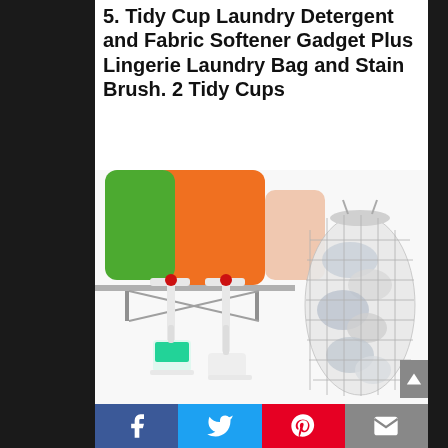5. Tidy Cup Laundry Detergent and Fabric Softener Gadget Plus Lingerie Laundry Bag and Stain Brush. 2 Tidy Cups
[Figure (photo): Product photo showing two white Tidy Cup laundry detergent dispensers attached to detergent bottles (green and orange) on a shelf, with a measuring cup filled with green liquid, alongside a white mesh lingerie laundry bag filled with clothes, and a stain brush visible at the bottom.]
Facebook | Twitter | Pinterest | Email